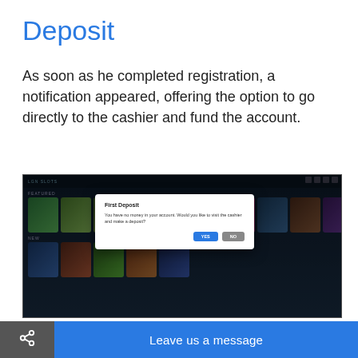Deposit
As soon as he completed registration, a notification appeared, offering the option to go directly to the cashier and fund the account.
[Figure (screenshot): Screenshot of a casino lobby website showing slot game thumbnails with a modal dialog overlay asking the user to make a deposit, with Yes and No buttons.]
He pressed the “Yes” button, so he was navigated to the cashier. The tester opted for an instant Bitcoin deposit and entered $200. He copied the BTC address to his w